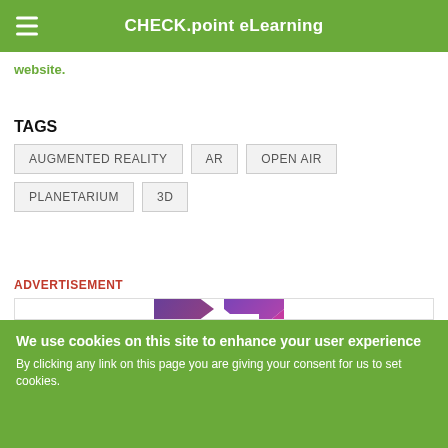CHECK.point eLearning
website.
TAGS
AUGMENTED REALITY
AR
OPEN AIR
PLANETARIUM
3D
ADVERTISEMENT
[Figure (logo): Purple and pink geometric logo made of triangular/arrow shapes forming a stylized design]
We use cookies on this site to enhance your user experience
By clicking any link on this page you are giving your consent for us to set cookies.